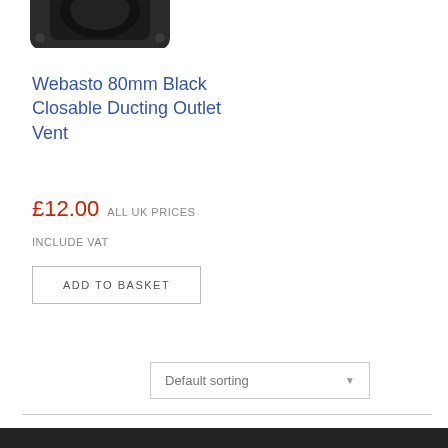[Figure (photo): Webasto 80mm Black Closable Ducting Outlet Vent product image viewed from above, black plastic vent unit]
Webasto 80mm Black Closable Ducting Outlet Vent
£12.00 ALL UK PRICES
INCLUDE VAT
ADD TO BASKET
Default sorting